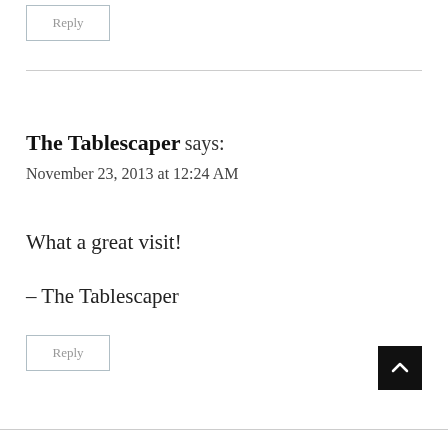Reply
The Tablescaper says:
November 23, 2013 at 12:24 AM
What a great visit!

– The Tablescaper
Reply